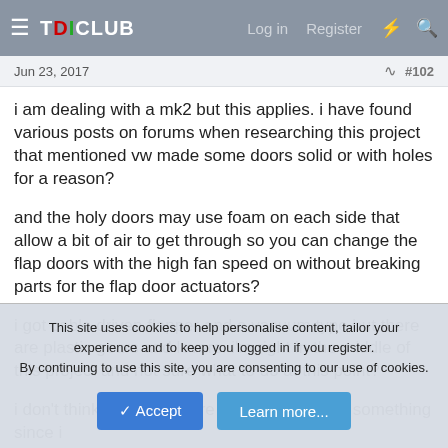TDICLUB  Log in  Register
Jun 23, 2017  #102
i am dealing with a mk2 but this applies. i have found various posts on forums when researching this project that mentioned vw made some doors solid or with holes for a reason?
and the holy doors may use foam on each side that allow a bit of air to get through so you can change the flap doors with the high fan speed on without breaking parts for the flap door actuators?
i got cable driven flapper and a vacuum type but there are plastic gears and levers. i'm right in the middle of this project and not sure what to do at this point?
i don't think the holes were to save weight or something since i
This site uses cookies to help personalise content, tailor your experience and to keep you logged in if you register.
By continuing to use this site, you are consenting to our use of cookies.